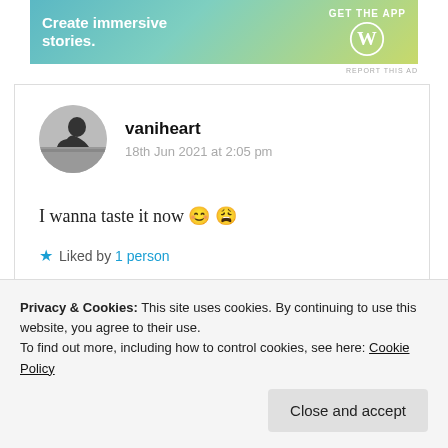[Figure (screenshot): WordPress banner ad: 'Create immersive stories.' with GET THE APP text and WordPress logo on gradient teal-green background]
REPORT THIS AD
[Figure (photo): Circular avatar of user vaniheart — grayscale photo of person looking sideways]
vaniheart
18th Jun 2021 at 2:05 pm
I wanna taste it now 😊 😩
★ Liked by 1 person
Log in to Reply
Privacy & Cookies: This site uses cookies. By continuing to use this website, you agree to their use.
To find out more, including how to control cookies, see here: Cookie Policy
Close and accept